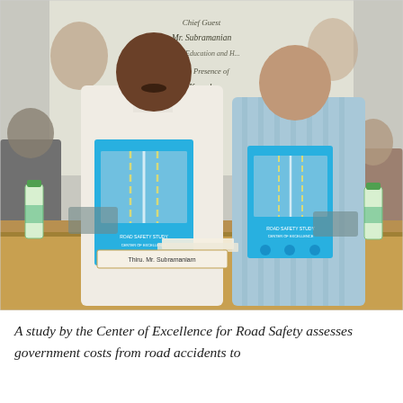[Figure (photo): Two men standing behind a table holding blue road safety study reports/books. A projection screen is visible in the background showing text including 'Chief Guest', 'Mr. Subramanian', 'Higher Education and...', 'In the Presence of', 'V. Kamala...'. A nameplate on the table reads 'Thiru. Mr. Subramaniam'. Water bottles are on the table. Other people are partially visible in the background.]
A study by the Center of Excellence for Road Safety assesses government costs from road accidents to